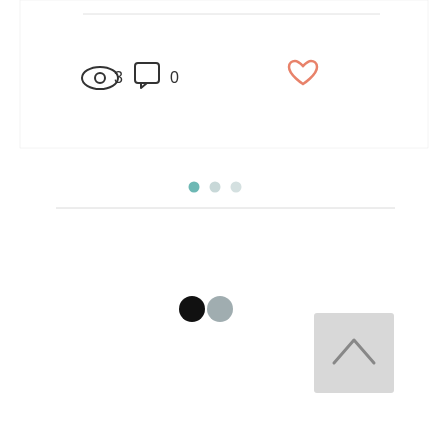[Figure (screenshot): A screenshot of a web interface showing a card/post footer with view count (eye icon + 3), comment count (speech bubble icon + 0), and a heart/like icon in salmon/coral color. Below it are three pagination dots (teal filled, gray, gray). Below a horizontal rule are two larger dots (black filled, gray filled). Bottom right has a back-to-top button (gray square with upward chevron).]